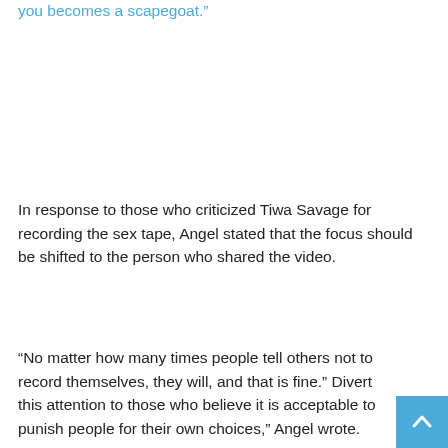you becomes a scapegoat.”
In response to those who criticized Tiwa Savage for recording the sex tape, Angel stated that the focus should be shifted to the person who shared the video.
“No matter how many times people tell others not to record themselves, they will, and that is fine.” Divert this attention to those who believe it is acceptable to punish people for their own choices,” Angel wrote.